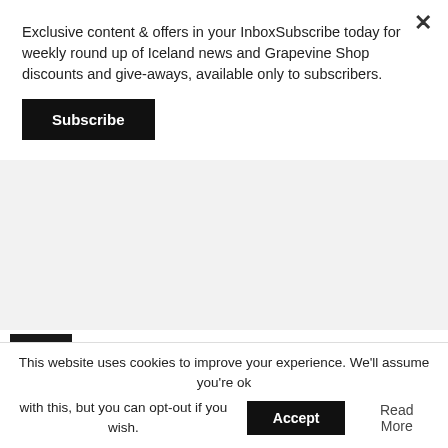Exclusive content & offers in your InboxSubscribe today for weekly round up of Iceland news and Grapevine Shop discounts and give-aways, available only to subscribers.
Subscribe
Headlamp Purchases
NEWS
Volcano Bread Cake Competition Underway
ON YOUR OWN
Ten Mundane Things You Can't Really Do In Iceland
This website uses cookies to improve your experience. We'll assume you're ok with this, but you can opt-out if you wish.
Accept
Read More